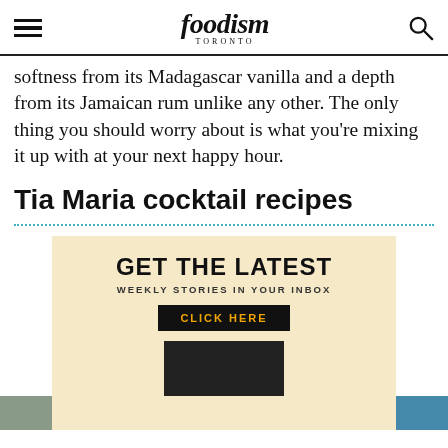foodism TORONTO
softness from its Madagascar vanilla and a depth from its Jamaican rum unlike any other. The only thing you should worry about is what you're mixing it up with at your next happy hour.
Tia Maria cocktail recipes
[Figure (infographic): Newsletter signup banner with text 'GET THE LATEST', 'WEEKLY STORIES IN YOUR INBOX', 'CLICK HERE' button on a cream/yellow background with decorative image]